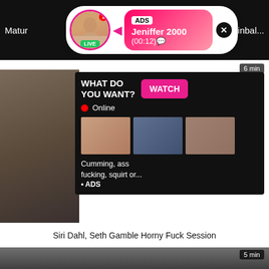[Figure (screenshot): Website screenshot showing adult video platform with notification popup overlay. Top dark bar showing truncated video titles 'Mature' on left and 'inbal...' on right. Pink notification popup with avatar, LIVE badge, ADS label, name 'Jeniffer 2000', time '(00:12)'. Main video area with '6 min' duration badge. Black ad overlay panel showing 'WHAT DO YOU WANT?' text, 'WATCH' button, 'Online' indicator, thumbnail images, text 'Cumming, ass fucking, squirt or... • ADS'. PTaboo.com watermark. White bar with title 'Siri Dahl, Seth Gamble Horny Fuck Session'. Bottom video with '5 min' badge.]